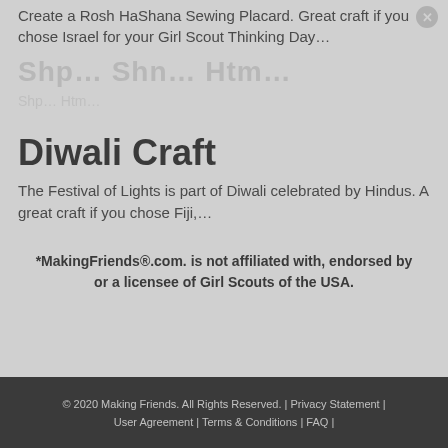Create a Rosh HaShana Sewing Placard. Great craft if you chose Israel for your Girl Scout Thinking Day…
Shp… Shn… Htmy…
Diwali Craft
The Festival of Lights is part of Diwali celebrated by Hindus. A great craft if you chose Fiji,…
*MakingFriends®.com. is not affiliated with, endorsed by or a licensee of Girl Scouts of the USA.
© 2020 Making Friends. All Rights Reserved. | Privacy Statement | User Agreement | Terms & Conditions | FAQ |